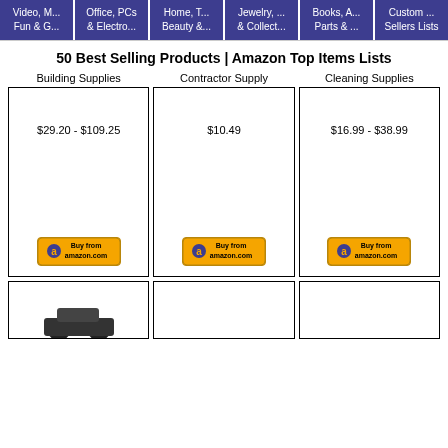[Figure (infographic): Navigation bar with 6 purple category buttons: Video M... Fun & G..., Office PCs & Electro..., Home T... Beauty &..., Jewelry... & Collect..., Books A... Parts &..., Custom... Sellers Lists]
50 Best Selling Products | Amazon Top Items Lists
Building Supplies	$29.20 - $109.25
Contractor Supply	$10.49
Cleaning Supplies	$16.99 - $38.99
[Figure (screenshot): Three product listing cells with prices and Buy from Amazon buttons. Cell 1: Building Supplies $29.20-$109.25. Cell 2: Contractor Supply $10.49. Cell 3: Cleaning Supplies $16.99-$38.99. Each has a Buy from amazon.com button.]
[Figure (screenshot): Partial second row of product cells, leftmost showing bottom of a black car image]